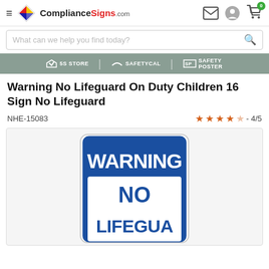ComplianceSigns.com - Navigation header with hamburger menu, logo, search, and icons
What can we help you find today?
5S STORE | SAFETYCAL | SAFETY POSTER
Warning No Lifeguard On Duty Children 16 Sign No Lifeguard
NHE-15083
★★★★☆ - 4/5
[Figure (photo): Warning No Lifeguard sign with blue background. Text reads WARNING in large white bold letters at top, then NO and LIFEGUARD in blue on white background below.]